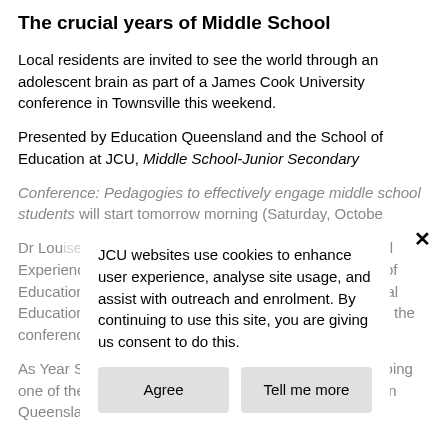The crucial years of Middle School
Local residents are invited to see the world through an adolescent brain as part of a James Cook University conference in Townsville this weekend.
Presented by Education Queensland and the School of Education at JCU, Middle School-Junior Secondary Conference: Pedagogies to effectively engage middle school students will start tomorrow morning (Saturday, October…
Dr Louise…Senior Lecturer and Director of Professional Experience and Practitioner Engagement in the School of Education at JCU… Nicholas, Junior Secondary Principal Education Advisor from Education Queensland, will lead the conference.
As Year Se… Dr Tomas said the ju… ing was undergoing one of the most significant reform agendas undertaken in Queensland since…
JCU websites use cookies to enhance user experience, analyse site usage, and assist with outreach and enrolment. By continuing to use this site, you are giving us consent to do this.